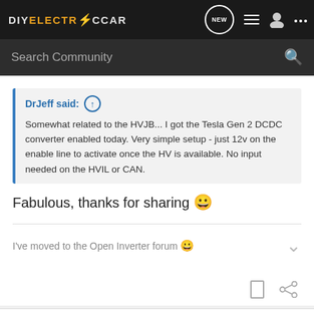DIYELECTRiCCAR — navigation header with NEW, list, user, and menu icons
Search Community
DrJeff said: ↑
Somewhat related to the HVJB... I got the Tesla Gen 2 DCDC converter enabled today. Very simple setup - just 12v on the enable line to activate once the HV is available. No input needed on the HVIL or CAN.
Fabulous, thanks for sharing 😀
I've moved to the Open Inverter forum 🙂